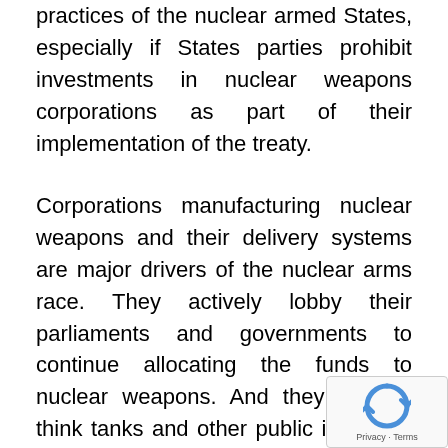practices of the nuclear armed States, especially if States parties prohibit investments in nuclear weapons corporations as part of their implementation of the treaty.
Corporations manufacturing nuclear weapons and their delivery systems are major drivers of the nuclear arms race. They actively lobby their parliaments and governments to continue allocating the funds to nuclear weapons. And they support think tanks and other public initiatives to promote the ‘need’ for nuclear weapons maintenance, modernization and expansion.